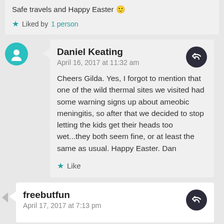Safe travels and Happy Easter 🙂
★ Liked by 1 person
Daniel Keating
April 16, 2017 at 11:32 am
Cheers Gilda. Yes, I forgot to mention that one of the wild thermal sites we visited had some warning signs up about ameobic meningitis, so after that we decided to stop letting the kids get their heads too wet...they both seem fine, or at least the same as usual. Happy Easter. Dan
★ Like
freebutfun
April 17, 2017 at 7:13 pm